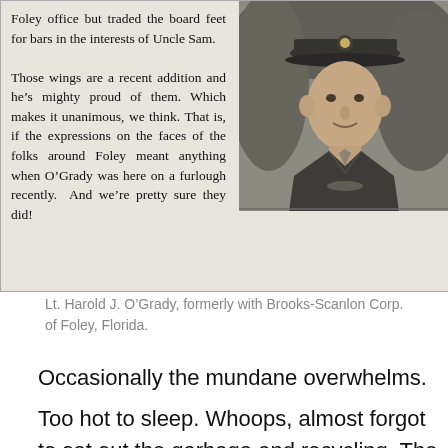[Figure (photo): Newspaper clipping with text on left describing Lt. Harold J. O'Grady, and a black-and-white portrait photo of a military officer on the right wearing a peaked cap with military insignia and uniform.]
Lt. Harold J. O'Grady, formerly with Brooks-Scanlon Corp. of Foley, Florida.
Occasionally the mundane overwhelms.
Too hot to sleep. Whoops, almost forgot to set out the garbage and recycling. The last avocado's gone bad; no guacamole for the morning toast. Do we have anything...